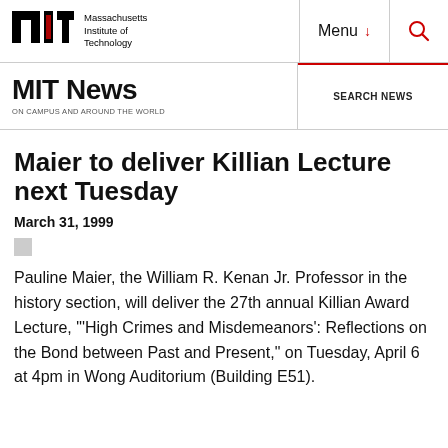MIT Massachusetts Institute of Technology | Menu | Search
MIT News ON CAMPUS AND AROUND THE WORLD | SEARCH NEWS
Maier to deliver Killian Lecture next Tuesday
March 31, 1999
Pauline Maier, the William R. Kenan Jr. Professor in the history section, will deliver the 27th annual Killian Award Lecture, "'High Crimes and Misdemeanors': Reflections on the Bond between Past and Present," on Tuesday, April 6 at 4pm in Wong Auditorium (Building E51).